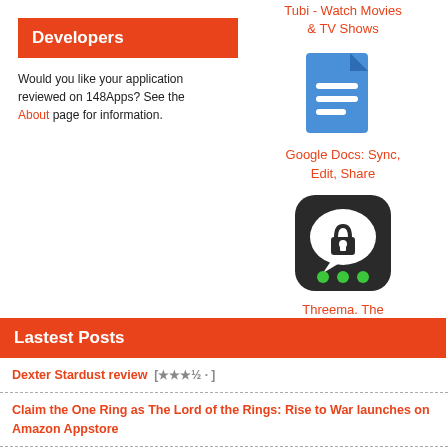Developers
Would you like your application reviewed on 148Apps? See the About page for information.
Tubi - Watch Movies & TV Shows
[Figure (logo): Google Docs app icon - blue document with white lines]
Google Docs: Sync, Edit, Share
[Figure (logo): Threema app icon - dark rounded square with white speech bubble containing a lock and three green dots]
Threema. The Secure Messenger
Lastest Posts
Dexter Stardust review [★★★½ · ]
Claim the One Ring as The Lord of the Rings: Rise to War launches on Amazon Appstore
Top Mobile Game Discounts
A new expansion comes to TEPPEN and brings the mightiest of